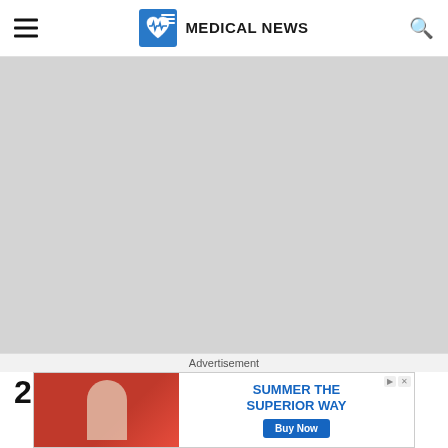Medical News
[Figure (photo): Large gray placeholder hero image for a medical news article]
2. Chest Pun...
Advertisement
[Figure (photo): Advertisement banner: Summer The Superior Way - Buy Now, featuring a person holding a drink bottle]